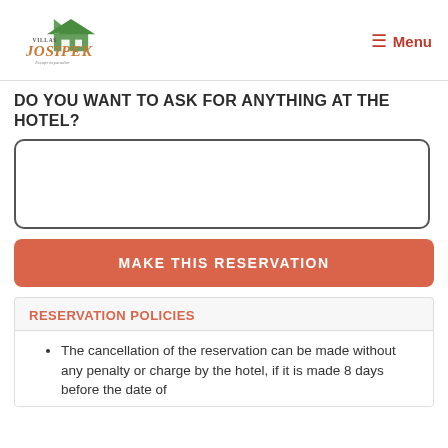Villas Josipek — Menu
DO YOU WANT TO ASK FOR ANYTHING AT THE HOTEL?
[Figure (screenshot): Text area input box for hotel requests]
MAKE THIS RESERVATION
RESERVATION POLICIES
The cancellation of the reservation can be made without any penalty or charge by the hotel, if it is made 8 days before the date of